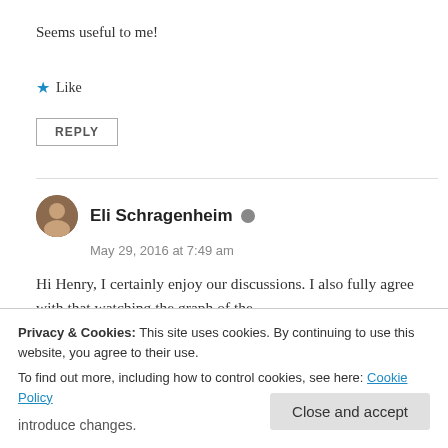Seems useful to me!
★ Like
REPLY
Eli Schragenheim
May 29, 2016 at 7:49 am
Hi Henry, I certainly enjoy our discussions. I also fully agree with that watching the graph of the
Privacy & Cookies: This site uses cookies. By continuing to use this website, you agree to their use.
To find out more, including how to control cookies, see here: Cookie Policy
Close and accept
introduce changes.